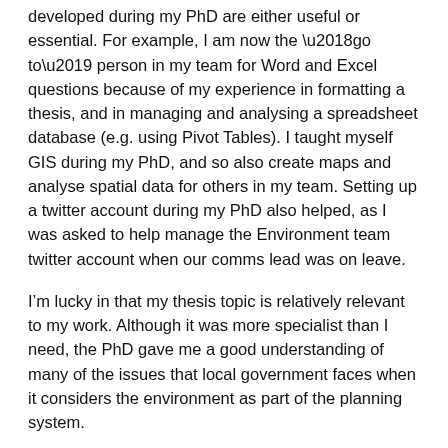developed during my PhD are either useful or essential. For example, I am now the ‘go to’ person in my team for Word and Excel questions because of my experience in formatting a thesis, and in managing and analysing a spreadsheet database (e.g. using Pivot Tables). I taught myself GIS during my PhD, and so also create maps and analyse spatial data for others in my team. Setting up a twitter account during my PhD also helped, as I was asked to help manage the Environment team twitter account when our comms lead was on leave.
I’m lucky in that my thesis topic is relatively relevant to my work. Although it was more specialist than I need, the PhD gave me a good understanding of many of the issues that local government faces when it considers the environment as part of the planning system.